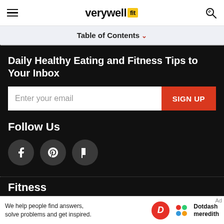verywell fit
Table of Contents
Daily Healthy Eating and Fitness Tips to Your Inbox
Enter your email | SIGN UP
Follow Us
[Figure (other): Social media icons: Facebook, Pinterest, Flipboard]
Fitness
Nutri...
We help people find answers, solve problems and get inspired. Dotdash meredith